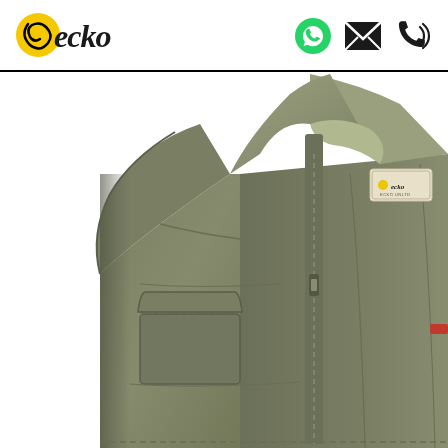[Figure (logo): Ecko brand logo with yellow swirl graphic and stylized black cursive 'ecko' text]
[Figure (infographic): Three contact icons: green WhatsApp phone icon, black envelope/email icon, black telephone with signal waves icon]
[Figure (photo): Close-up product photo of an olive/khaki green sleeveless vest/gilet with zipper front, chest pocket with flap, collar, and Ecko brand label visible at neckline]